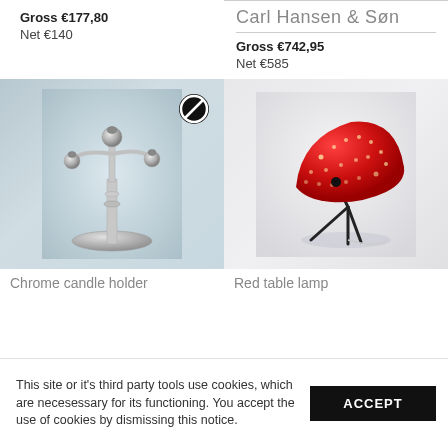Gross €177,80
Net €140
Carl Hansen & Søn
Gross €742,95
Net €585
[Figure (photo): Chrome candle holder with three arms and round ball tops on a circular base, with a no-symbol icon overlay in top right]
[Figure (photo): Red perforated cone-shaped table lamp on black tripod legs on a white surface]
Chrome candle holder
Red table lamp
This site or it's third party tools use cookies, which are necesessary for its functioning. You accept the use of cookies by dismissing this notice.